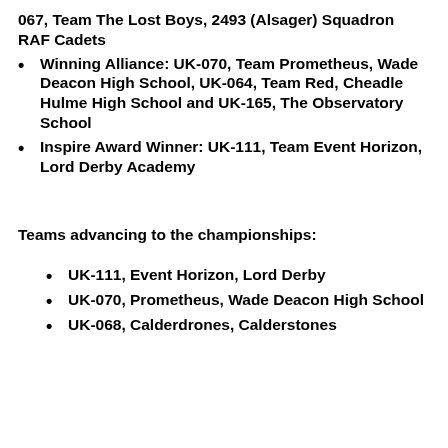067, Team The Lost Boys, 2493 (Alsager) Squadron RAF Cadets
Winning Alliance: UK-070, Team Prometheus, Wade Deacon High School, UK-064, Team Red, Cheadle Hulme High School and UK-165, The Observatory School
Inspire Award Winner: UK-111, Team Event Horizon, Lord Derby Academy
Teams advancing to the championships:
UK-111, Event Horizon, Lord Derby
UK-070, Prometheus, Wade Deacon High School
UK-068, Calderdrones, Calderstones